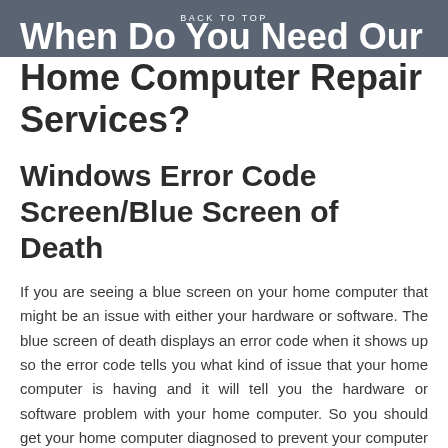BACK TO TOP
When Do You Need Our Home Computer Repair Services?
Windows Error Code Screen/Blue Screen of Death
If you are seeing a blue screen on your home computer that might be an issue with either your hardware or software. The blue screen of death displays an error code when it shows up so the error code tells you what kind of issue that your home computer is having and it will tell you the hardware or software problem with your home computer. So you should get your home computer diagnosed to prevent your computer to prevent further harm to your motherboard. Just come to our experts to